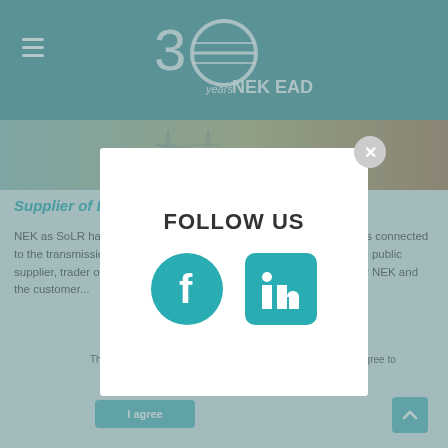30 Years NEK EAD
[Figure (screenshot): Background hero image showing electrical infrastructure/towers with warm orange and teal tones]
Supplier of Last Resort (SoLR)
NEK as SoLR has the obligation to supply electricity to final customers connected to the transmission system if such customers cannot be served by the public supplier, trader or the chosen supplier, under conditions negotiated by NEK and the customer...
[Figure (screenshot): Follow Us modal popup with Facebook and LinkedIn social media icons on white background with close button]
This site uses cookies. By continuing to browse the site, you agree to
I agree